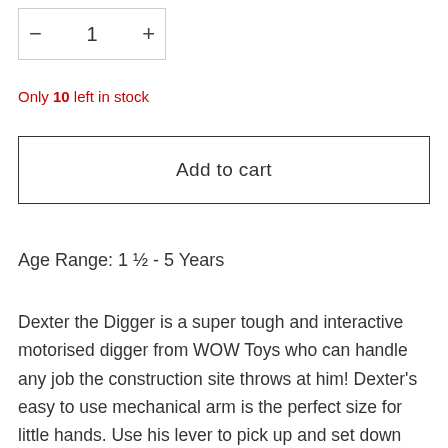[Figure (other): Quantity selector with minus button, value 1, and plus button inside a bordered box]
Only 10 left in stock
Add to cart
Age Range: 1 ½ - 5 Years
Dexter the Digger is a super tough and interactive motorised digger from WOW Toys who can handle any job the construction site throws at him! Dexter's easy to use mechanical arm is the perfect size for little hands. Use his lever to pick up and set down the boulders around the construction site and push him to rev up his powerful motorised engine so he can speed off to his next job. Press his removable construction